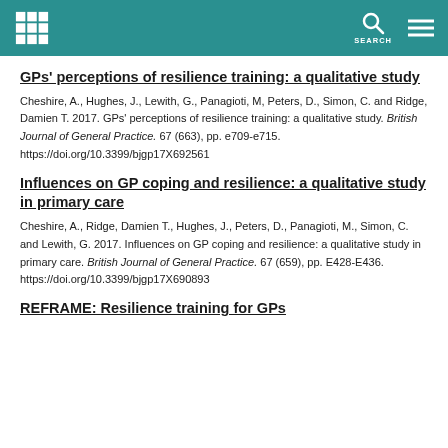GPs’ perceptions of resilience training: a qualitative study
Cheshire, A., Hughes, J., Lewith, G., Panagioti, M, Peters, D., Simon, C. and Ridge, Damien T. 2017. GPs’ perceptions of resilience training: a qualitative study. British Journal of General Practice. 67 (663), pp. e709-e715. https://doi.org/10.3399/bjgp17X692561
Influences on GP coping and resilience: a qualitative study in primary care
Cheshire, A., Ridge, Damien T., Hughes, J., Peters, D., Panagioti, M., Simon, C. and Lewith, G. 2017. Influences on GP coping and resilience: a qualitative study in primary care. British Journal of General Practice. 67 (659), pp. E428-E436. https://doi.org/10.3399/bjgp17X690893
REFRAME: Resilience training for GPs